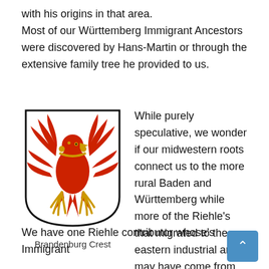with his origins in that area. Most of our Württemberg Immigrant Ancestors were discovered by Hans-Martin or through the extensive family tree he provided to us.
[Figure (illustration): Brandenburg Crest — a red eagle with yellow beak and talons on a white shield with black border]
Brandenburg Crest
While purely speculative, we wonder if our midwestern roots connect us to the more rural Baden and Württemberg while more of the Riehle's that migrated to the eastern industrial areas may have come from the Berlin / Brandenburg area.
We have one Riehle contributor whose's Immigrant